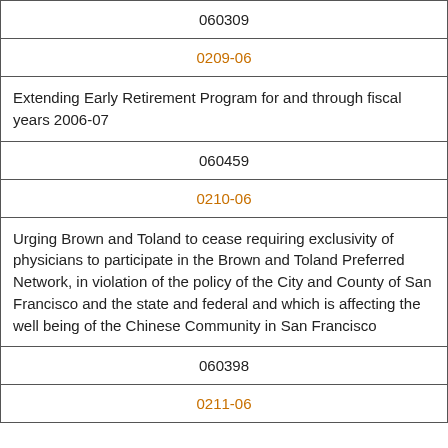| 060309 |
| 0209-06 |
| Extending Early Retirement Program for and through fiscal years 2006-07 |
| 060459 |
| 0210-06 |
| Urging Brown and Toland to cease requiring exclusivity of physicians to participate in the Brown and Toland Preferred Network, in violation of the policy of the City and County of San Francisco and the state and federal and which is affecting the well being of the Chinese Community in San Francisco |
| 060398 |
| 0211-06 |